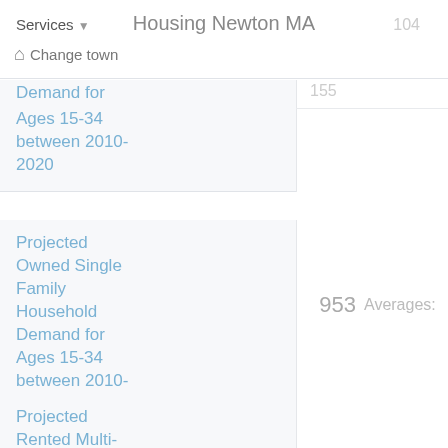Housing Newton MA
Services
Change town
Demand for Ages 15-34 between 2010-2020
Projected Owned Single Family Household Demand for Ages 15-34 between 2010-2020
953  Averages:  270
Projected Rented Multi-Family Household